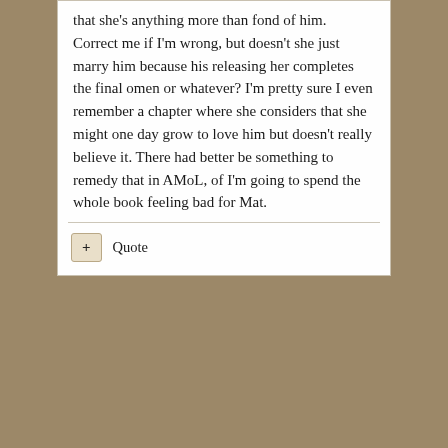that she's anything more than fond of him. Correct me if I'm wrong, but doesn't she just marry him because his releasing her completes the final omen or whatever? I'm pretty sure I even remember a chapter where she considers that she might one day grow to love him but doesn't really believe it. There had better be something to remedy that in AMoL, of I'm going to spend the whole book feeling bad for Mat.
Quote
mmoore1004  -  Member
Posted February 20, 2012
Nah, I think Tuon's POV after she kisses Mat makes a pretty explicit foreshadowing of their real feelings for each other. Plus I have more